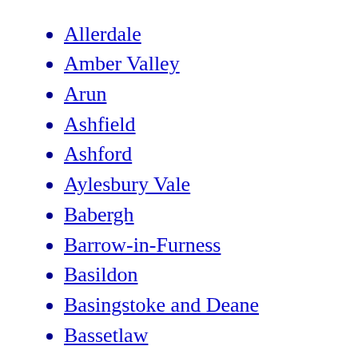York
Allerdale
Amber Valley
Arun
Ashfield
Ashford
Aylesbury Vale
Babergh
Barrow-in-Furness
Basildon
Basingstoke and Deane
Bassetlaw
Blaby
Bolsover
Boston
Braintree
Breckland
Brentwood
Broadland
Bromsgrove
Broxbourne
Broxtowe
Burnley
Cambridge
Cannock Chase